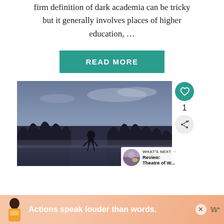firm definition of dark academia can be tricky but it generally involves places of higher education, …
READ MORE
[Figure (photo): Silhouette of a person standing in a misty, dark landscape with trees and a reflective surface, evening sky with clouds.]
WHAT'S NEXT → Review: Theatre of W...
Actions speak louder than words.